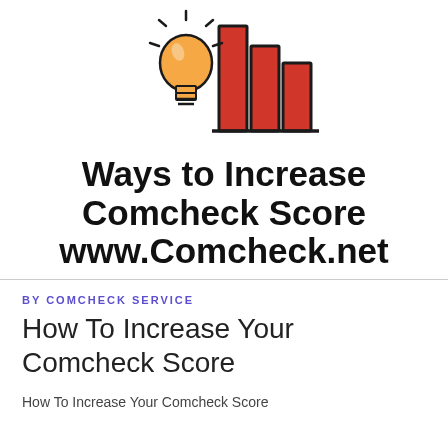[Figure (logo): Logo with a light bulb (orange) and bar chart (red bars, dark outline) icon, representing Comcheck score improvement]
Ways to Increase Comcheck Score www.Comcheck.net
BY COMCHECK SERVICE
How To Increase Your Comcheck Score
How To Increase Your Comcheck Score